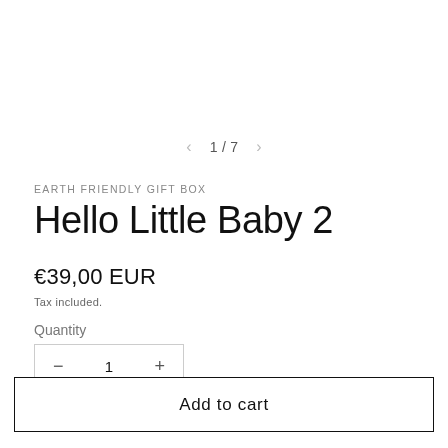< 1 / 7 >
EARTH FRIENDLY GIFT BOX
Hello Little Baby 2
€39,00 EUR
Tax included.
Quantity
− 1 +
Add to cart